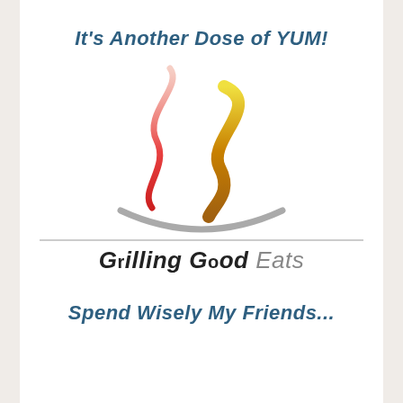It's Another Dose of YUM!
[Figure (logo): Grilling Good Eats logo: two flame/steam swirl shapes (one pink/red gradient, one yellow/gold gradient) above a gray bowl arc, with a horizontal divider line and the brand name 'Grilling Good Eats' in italic below]
Spend Wisely My Friends...